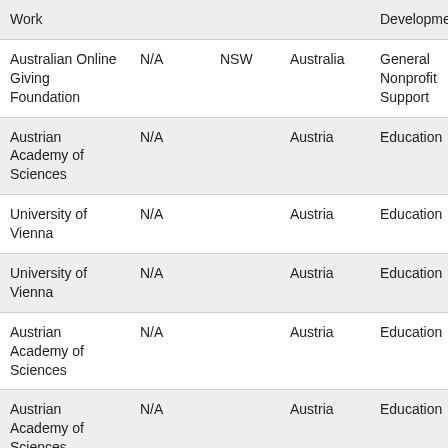| Organization | Amount | State/Province | Country | Category |
| --- | --- | --- | --- | --- |
| Work |  |  |  | Development |
| Australian Online Giving Foundation | N/A | NSW | Australia | General Nonprofit Support |
| Austrian Academy of Sciences | N/A |  | Austria | Education |
| University of Vienna | N/A |  | Austria | Education |
| University of Vienna | N/A |  | Austria | Education |
| Austrian Academy of Sciences | N/A |  | Austria | Education |
| Austrian Academy of Sciences | N/A |  | Austria | Education |
| Austrian Academy of Sciences | N/A |  | Austria | Education |
| American | N/A |  | Bangladesh | Education |